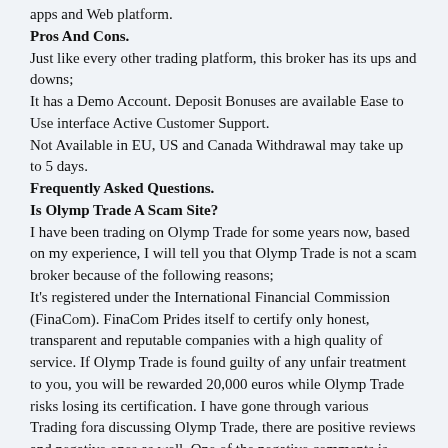apps and Web platform.
Pros And Cons.
Just like every other trading platform, this broker has its ups and downs;
It has a Demo Account. Deposit Bonuses are available Ease to Use interface Active Customer Support.
Not Available in EU, US and Canada Withdrawal may take up to 5 days.
Frequently Asked Questions.
Is Olymp Trade A Scam Site?
I have been trading on Olymp Trade for some years now, based on my experience, I will tell you that Olymp Trade is not a scam broker because of the following reasons;
It's registered under the International Financial Commission (FinaCom). FinaCom Prides itself to certify only honest, transparent and reputable companies with a high quality of service. If Olymp Trade is found guilty of any unfair treatment to you, you will be rewarded 20,000 euros while Olymp Trade risks losing its certification. I have gone through various Trading fora discussing Olymp Trade, there are positive reviews and negative ones as well. One of the negative comments is losing money, trading is risky, it requires skills, you should test out the system using the demo account and go through the tutorials before putting in your money. Since being certified by FinaCom, OlympTrade has won 6 awards between 2016 and 2019. Here